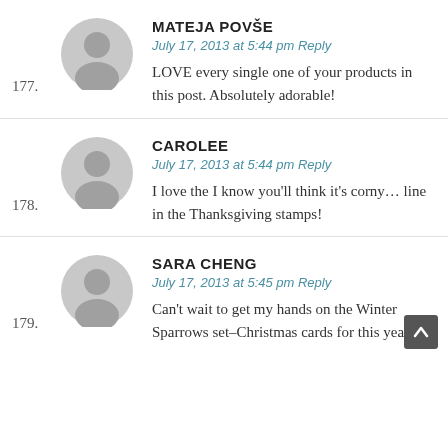[Figure (illustration): Gray circular avatar placeholder icon for commenter Mateja Povše]
MATEJA POVŠE
July 17, 2013 at 5:44 pm Reply
177. LOVE every single one of your products in this post. Absolutely adorable!
[Figure (illustration): Gray circular avatar placeholder icon for commenter Carolee]
CAROLEE
July 17, 2013 at 5:44 pm Reply
178. I love the I know you'll think it's corny… line in the Thanksgiving stamps!
[Figure (illustration): Gray circular avatar placeholder icon for commenter Sara Cheng]
SARA CHENG
July 17, 2013 at 5:45 pm Reply
179. Can't wait to get my hands on the Winter Sparrows set–Christmas cards for this year